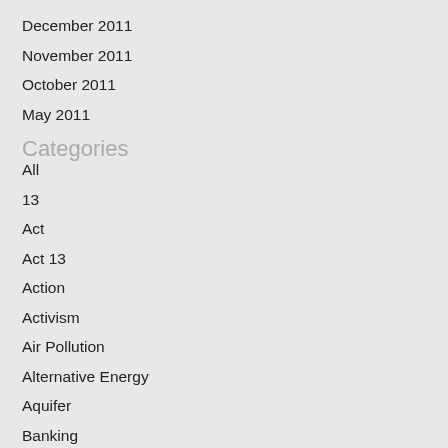December 2011
November 2011
October 2011
May 2011
Categories
All
13
Act
Act 13
Action
Activism
Air Pollution
Alternative Energy
Aquifer
Banking
Birth Defects
Butler Township
Cement Casings